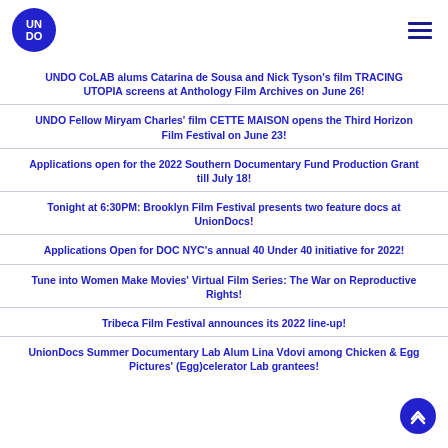UNDO (logo) — hamburger menu
UNDO CoLAB alums Catarina de Sousa and Nick Tyson's film TRACING UTOPIA screens at Anthology Film Archives on June 26!
UNDO Fellow Miryam Charles' film CETTE MAISON opens the Third Horizon Film Festival on June 23!
Applications open for the 2022 Southern Documentary Fund Production Grant till July 18!
Tonight at 6:30PM: Brooklyn Film Festival presents two feature docs at UnionDocs!
Applications Open for DOC NYC's annual 40 Under 40 initiative for 2022!
Tune into Women Make Movies' Virtual Film Series: The War on Reproductive Rights!
Tribeca Film Festival announces its 2022 line-up!
UnionDocs Summer Documentary Lab Alum Lina Vdovi among Chicken & Egg Pictures' (Egg)celerator Lab grantees!